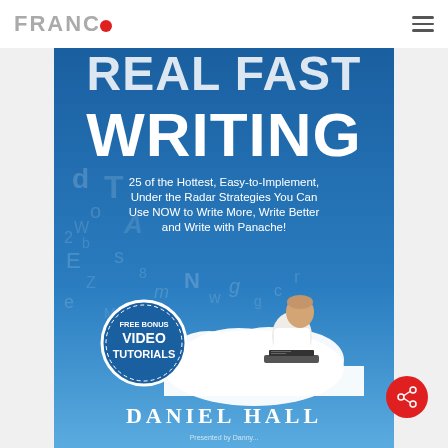FRANCO
[Figure (illustration): Book cover for 'Real Fast Writing' by Daniel Hall. Blue background with large white bold text 'WRITING' in the center, subtitle '25 of the Hottest, Easy-to-Implement, Under the Radar Strategies You Can Use NOW to Write More, Write Better and Write with Panache!', a man sitting on a cloud typing on a laptop with letters swirling around him, a circular badge reading 'FREE BONUS VIDEO TUTORIALS', and author name 'DANIEL HALL' at the bottom.]